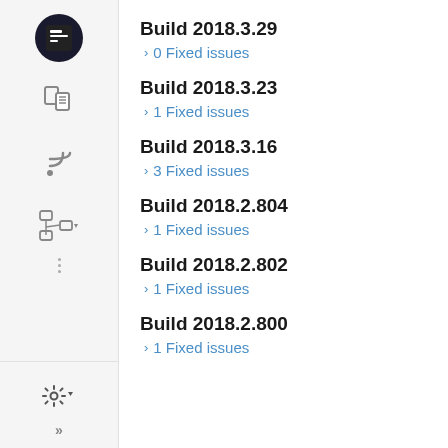Build 2018.3.29
0 Fixed issues
Build 2018.3.23
1 Fixed issues
Build 2018.3.16
3 Fixed issues
Build 2018.2.804
1 Fixed issues
Build 2018.2.802
1 Fixed issues
Build 2018.2.800
1 Fixed issues